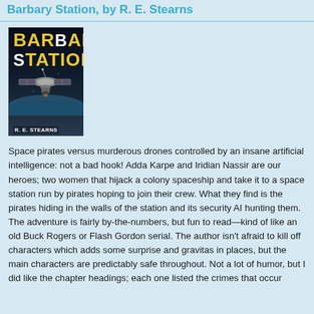Barbary Station, by R. E. Stearns
[Figure (illustration): Book cover of Barbary Station by R.E. Stearns showing the title in yellow and white bold text on a dark space background with a spaceship]
Space pirates versus murderous drones controlled by an insane artificial intelligence: not a bad hook! Adda Karpe and Iridian Nassir are our heroes; two women that hijack a colony spaceship and take it to a space station run by pirates hoping to join their crew. What they find is the pirates hiding in the walls of the station and its security AI hunting them. The adventure is fairly by-the-numbers, but fun to read—kind of like an old Buck Rogers or Flash Gordon serial. The author isn't afraid to kill off characters which adds some surprise and gravitas in places, but the main characters are predictably safe throughout. Not a lot of humor, but I did like the chapter headings; each one listed the crimes that occur